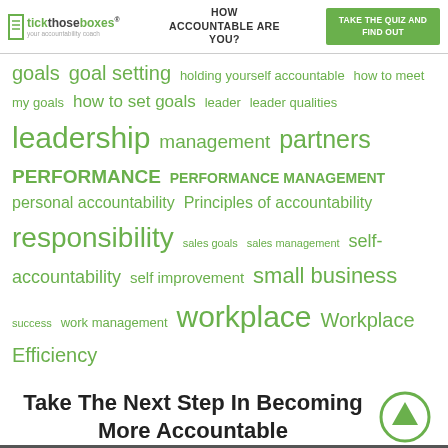tickthoseboxes® your accountability coach | HOW ACCOUNTABLE ARE YOU? | TAKE THE QUIZ AND FIND OUT
goals goal setting holding yourself accountable how to meet my goals how to set goals leader leader qualities leadership management partners PERFORMANCE PERFORMANCE MANAGEMENT personal accountability Principles of accountability responsibility sales goals sales management self-accountability self improvement small business success work management workplace Workplace Efficiency
Take The Next Step In Becoming More Accountable